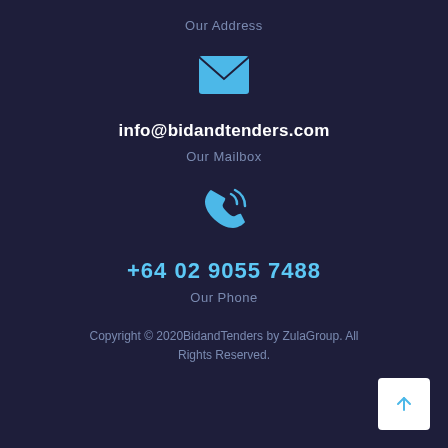Our Address
[Figure (illustration): Blue envelope icon]
info@bidandtenders.com
Our Mailbox
[Figure (illustration): Blue phone/call icon]
+64 02 9055 7488
Our Phone
Copyright © 2020BidandTenders by ZulaGroup. All Rights Reserved.